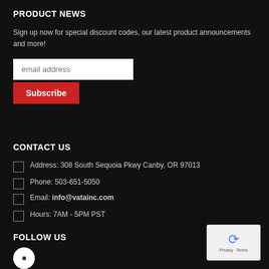PRODUCT NEWS
Sign up now for special discount codes, our latest product announcements and more!
[Figure (other): Email address input field with Subscribe button]
CONTACT US
Address: 308 South Sequoia Pkwy Canby, OR 97013
Phone: 503-651-5050
Email: info@vatainc.com
Hours: 7AM - 5PM PST
FOLLOW US
[Figure (other): reCAPTCHA widget with Privacy and Terms links]